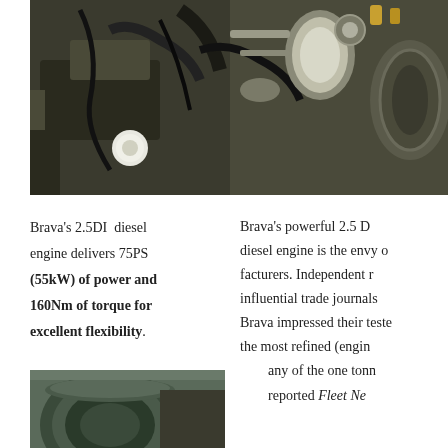[Figure (photo): Close-up photograph of a Fiat Brava 2.5DI diesel engine bay showing engine components, hoses, and metal parts in detail]
Brava's 2.5DI diesel engine delivers 75PS (55kW) of power and 160Nm of torque for excellent flexibility.
Brava's powerful 2.5 DI diesel engine is the envy of manufacturers. Independent influential trade journals Brava impressed their testers the most refined (engine) any of the one tonn reported Fleet Ne...
[Figure (photo): Close-up photograph of a circular engine component, likely an air filter or fuel pump, shown from above]